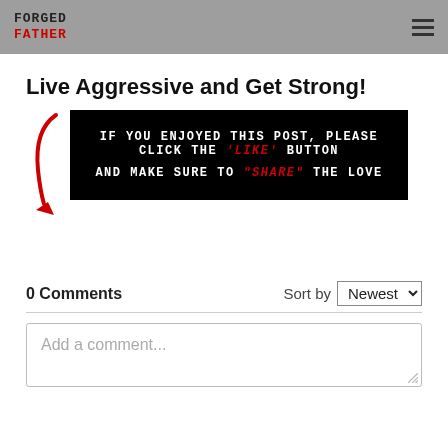FORGED FATHER
Live Aggressive and Get Strong!
[Figure (infographic): Black banner with white text: IF YOU ENJOYED THIS POST, PLEASE CLICK THE 'LIKE' BUTTON AND MAKE SURE TO 'SHARE' THE LOVE. Red curved arrow pointing down to the left.]
0 Comments   Sort by Newest
Add a comment...